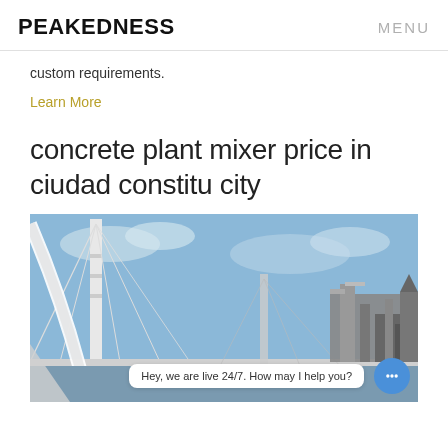PEAKEDNESS    MENU
custom requirements.
Learn More
concrete plant mixer price in ciudad constitu city
[Figure (photo): Photo of a cable-stayed bridge and industrial concrete plant equipment under a blue sky, with a chat widget overlay reading 'Hey, we are live 24/7. How may I help you?']